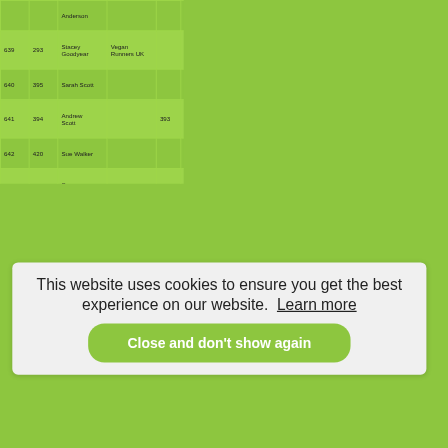|  |  | Anderson |  |  |  |  | 01:09... |
| --- | --- | --- | --- | --- | --- | --- | --- |
| 639 | 293 | Stacey Goodyear | Vegan Runners UK |  | 247 | F35 | 01:09... |
| 640 | 395 | Sarah Scott |  |  | 248 | F40 | 01:09... |
| 641 | 394 | Andrew Scott |  | 393 |  | M40 | 01:09... |
| 642 | 420 | Sue Walker |  |  | 249 | F40 | 01:09... |
| 643 | 748 | Susan Blacker |  |  | 250 | F50 | 01:09... |
| ... | ... | ... |  | ... |  | ... | 01:10... |
| ... | ... | ... |  |  |  |  | 01:10... |
| ... | ... | ... |  |  |  |  | 01:10... |
| 647 | 162 | Louise |  |  | 253 | F S | 01:10... |
This website uses cookies to ensure you get the best experience on our website. Learn more
Close and don't show again